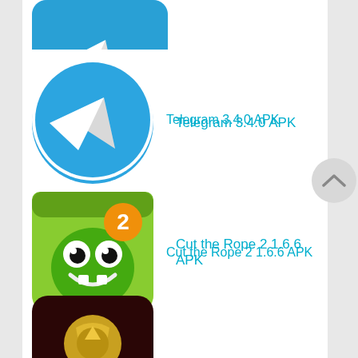[Figure (screenshot): Partial app icon at top — Telegram bird logo cropped]
Telegram 3.4.0 APK
Cut the Rope 2 1.6.6 APK
Clash of Kings 2.0.5 APK
Camera360 Ultimate 7.1.2 APK
Crossy Road 1.3.6 APK